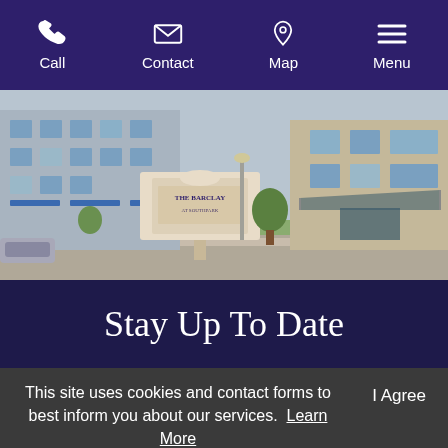Call  Contact  Map  Menu
[Figure (photo): Exterior photo of The Barclay at SouthPark apartment building with a stone entrance sign reading 'The Barclay at SouthPark', landscaped grounds, parking area, and modern building facade with balconies and a covered entrance canopy.]
Stay Up To Date
The Barclay at SouthPark wants
This site uses cookies and contact forms to best inform you about our services.  Learn More
I Agree